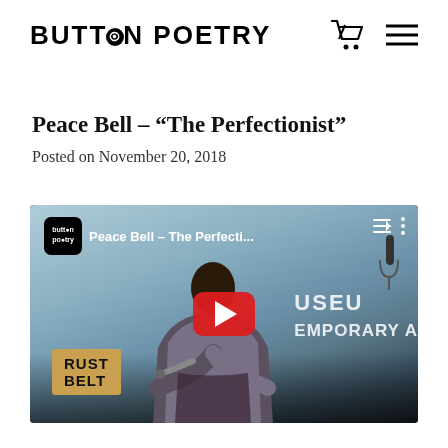BUTTON POETRY
Peace Bell – “The Perfectionist”
Posted on November 20, 2018
[Figure (screenshot): YouTube video embed thumbnail showing a Black woman performing spoken word poetry at a microphone on stage. The Button Poetry logo appears in the top-left corner. The video title reads 'Peace Bell - The Perfecti...' A large red YouTube play button is centered on the thumbnail. A 'RUST BELT' badge appears in the lower left. The background shows a museum setting with 'CONTEMPORARY A[RTS]' text visible.]